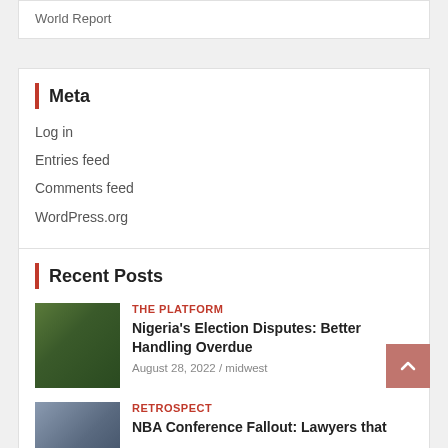World Report
Meta
Log in
Entries feed
Comments feed
WordPress.org
Recent Posts
[Figure (photo): Photo of a man wearing a green cap and white traditional attire, smiling]
THE PLATFORM
Nigeria's Election Disputes: Better Handling Overdue
August 28, 2022 / midwest
[Figure (photo): Photo of buildings or city scene]
RETROSPECT
NBA Conference Fallout: Lawyers that